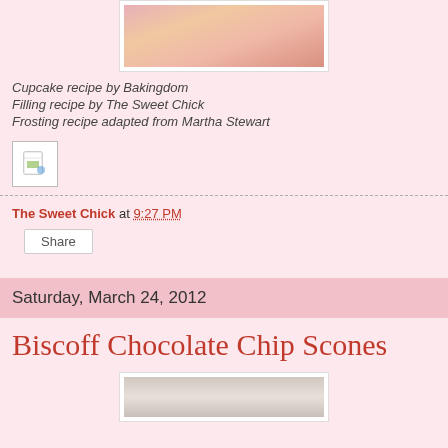[Figure (photo): Top portion of a food photo showing a cupcake or pastry on a decorative plate, partially cropped]
Cupcake recipe by Bakingdom
Filling recipe by The Sweet Chick
Frosting recipe adapted from Martha Stewart
[Figure (illustration): Small document/image icon]
The Sweet Chick at 9:27 PM
Share
Saturday, March 24, 2012
Biscoff Chocolate Chip Scones
[Figure (photo): Bottom portion of a food photo, partially visible, showing scones on a wooden surface]